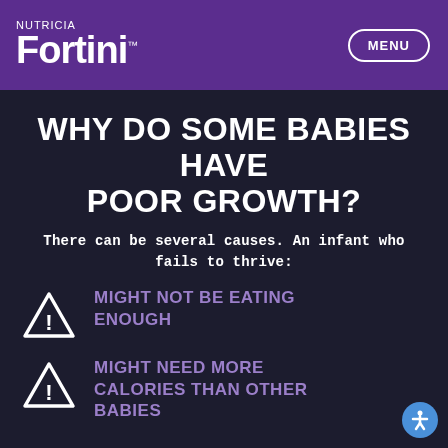NUTRICIA Fortini™ — MENU
WHY DO SOME BABIES HAVE POOR GROWTH?
There can be several causes. An infant who fails to thrive:
MIGHT NOT BE EATING ENOUGH
MIGHT NEED MORE CALORIES THAN OTHER BABIES